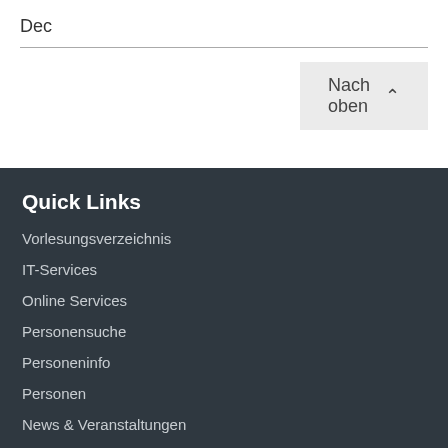Dec
Nach oben
Quick Links
Vorlesungsverzeichnis
IT-Services
Online Services
Personensuche
Personeninfo
Personen
News & Veranstaltungen